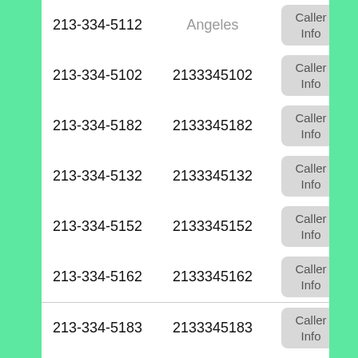| Phone (formatted) | Phone (digits) | Action |
| --- | --- | --- |
| 213-334-5112 | Los Angeles | Caller Info |
| 213-334-5102 | 2133345102 | Caller Info |
| 213-334-5182 | 2133345182 | Caller Info |
| 213-334-5132 | 2133345132 | Caller Info |
| 213-334-5152 | 2133345152 | Caller Info |
| 213-334-5162 | 2133345162 | Caller Info |
| 213-334-5183 | 2133345183 | Caller Info |
| 213-334-5153 | 2133345153 | Caller Info |
| 213-334-5133 | 2133345133 | Caller Info |
| 213-334-5193 | 2133345193 | Caller Info |